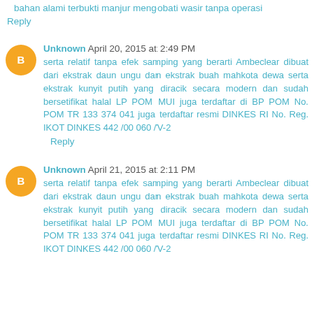bahan alami terbukti manjur mengobati wasir tanpa operasi
Reply
Unknown April 20, 2015 at 2:49 PM
serta relatif tanpa efek samping yang berarti Ambeclear dibuat dari ekstrak daun ungu dan ekstrak buah mahkota dewa serta ekstrak kunyit putih yang diracik secara modern dan sudah bersetifikat halal LP POM MUI juga terdaftar di BP POM No. POM TR 133 374 041 juga terdaftar resmi DINKES RI No. Reg. IKOT DINKES 442 /00 060 /V-2
Reply
Unknown April 21, 2015 at 2:11 PM
serta relatif tanpa efek samping yang berarti Ambeclear dibuat dari ekstrak daun ungu dan ekstrak buah mahkota dewa serta ekstrak kunyit putih yang diracik secara modern dan sudah bersetifikat halal LP POM MUI juga terdaftar di BP POM No. POM TR 133 374 041 juga terdaftar resmi DINKES RI No. Reg. IKOT DINKES 442 /00 060 /V-2